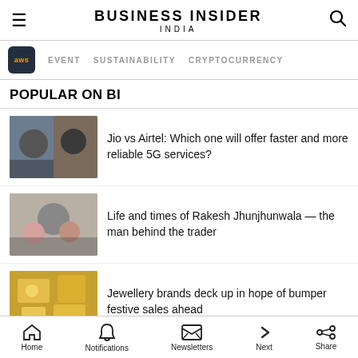BUSINESS INSIDER INDIA
EVENT   SUSTAINABILITY   CRYPTOCURRENCY
POPULAR ON BI
Jio vs Airtel: Which one will offer faster and more reliable 5G services?
Life and times of Rakesh Jhunjhunwala — the man behind the trader
Jewellery brands deck up in hope of bumper festive sales ahead
Visit Premium Outlets® Leesburg Premium Outlets
LATES
Home   Notifications   Newsletters   Next   Share